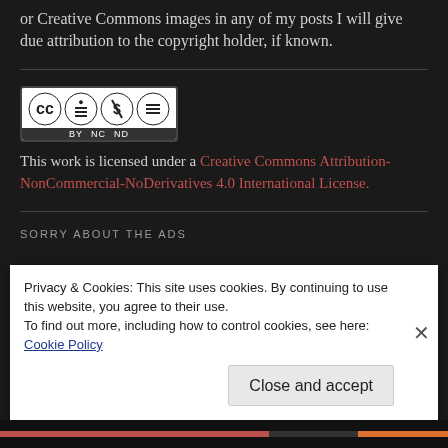or Creative Commons images in any of my posts I will give due attribution to the copyright holder, if known.
[Figure (logo): Creative Commons BY NC ND license badge]
This work is licensed under a Creative Commons Attribution-NonCommercial-NoDerivatives 4.0 International License.
SORRY ABOUT THE ADS
Privacy & Cookies: This site uses cookies. By continuing to use this website, you agree to their use.
To find out more, including how to control cookies, see here: Cookie Policy

Close and accept